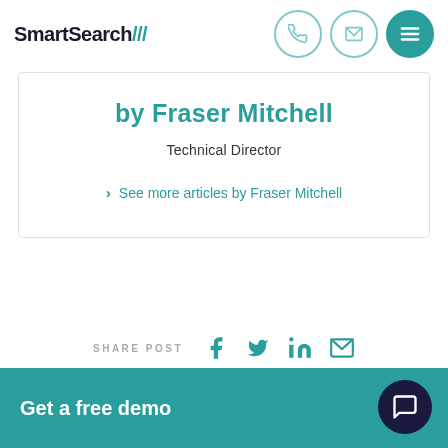SmartSearch///
by Fraser Mitchell
Technical Director
> See more articles by Fraser Mitchell
SHARE POST
Get a free demo